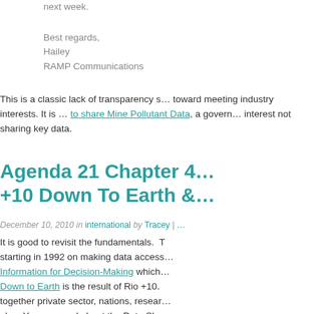next week.
Best regards,
Hailey
RAMP Communications
This is a classic lack of transparency s… toward meeting industry interests. It is … to share Mine Pollutant Data, a govern… interest not sharing key data.
Agenda 21 Chapter 4… +10 Down To Earth &…
December 10, 2010 in international by Tracey | …
It is good to revisit the fundamentals. T… starting in 1992 on making data access… Information for Decision-Making which… Down to Earth is the result of Rio +10… together private sector, nations, resear… plan. You can read about the Data Sha… starting on page 137 of this document.… up as an idea in 2009 in Canada. It ha…